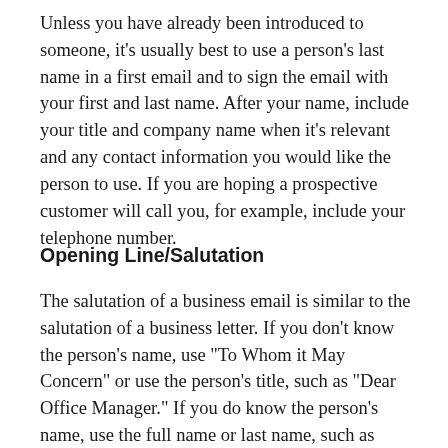Unless you have already been introduced to someone, it's usually best to use a person's last name in a first email and to sign the email with your first and last name. After your name, include your title and company name when it's relevant and any contact information you would like the person to use. If you are hoping a prospective customer will call you, for example, include your telephone number.
Opening Line/Salutation
The salutation of a business email is similar to the salutation of a business letter. If you don't know the person's name, use "To Whom it May Concern" or use the person's title, such as "Dear Office Manager." If you do know the person's name, use the full name or last name, such as "Dear Robert Jones" or "Dear Mr. Jones." Unless you have met the person before, don't use an informal greeting like "Hey" or "Hello."